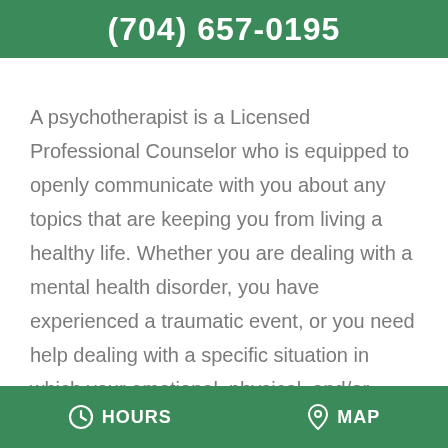(704) 657-0195
A psychotherapist is a Licensed Professional Counselor who is equipped to openly communicate with you about any topics that are keeping you from living a healthy life. Whether you are dealing with a mental health disorder, you have experienced a traumatic event, or you need help dealing with a specific situation in which your emotional, physical, and/or mental health are at-risk, a psychotherapist offers a safe place to talk about your specific situation.

When you make an appointment with us at
HOURS   MAP